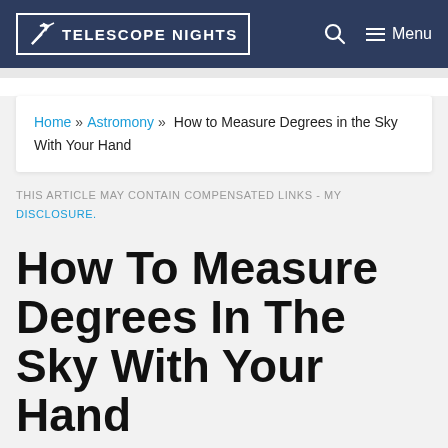TELESCOPE NIGHTS
Home » Astromony » How to Measure Degrees in the Sky With Your Hand
THIS ARTICLE MAY CONTAIN COMPENSATED LINKS - MY DISCLOSURE.
How To Measure Degrees In The Sky With Your Hand